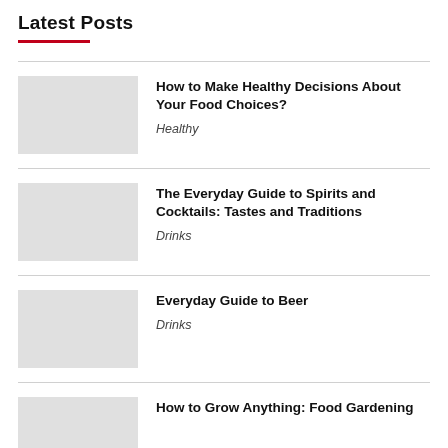Latest Posts
How to Make Healthy Decisions About Your Food Choices? — Healthy
The Everyday Guide to Spirits and Cocktails: Tastes and Traditions — Drinks
Everyday Guide to Beer — Drinks
How to Grow Anything: Food Gardening